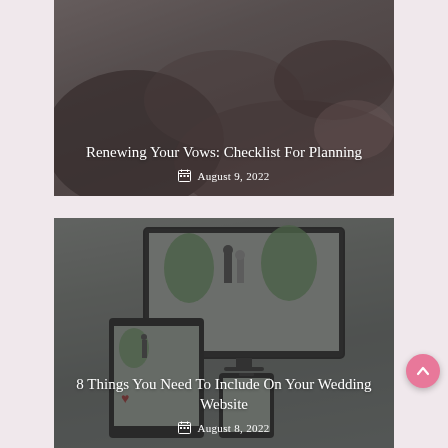[Figure (photo): Blog post card image: hands exchanging a ring, with overlay text title 'Renewing Your Vows: Checklist For Planning' and date 'August 9, 2022']
[Figure (photo): Blog post card image: computer and tablet screens showing a wedding website with illustrated couple, with overlay text title '8 Things You Need To Include On Your Wedding Website' and date 'August 8, 2022']